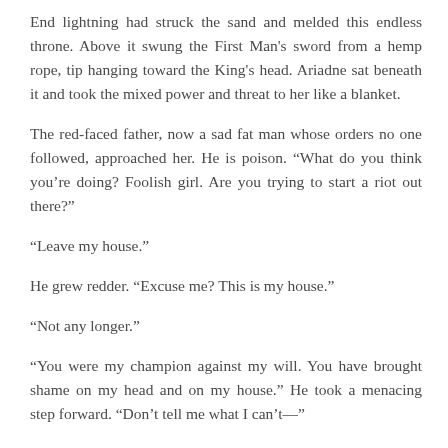End lightning had struck the sand and melded this endless throne. Above it swung the First Man's sword from a hemp rope, tip hanging toward the King's head. Ariadne sat beneath it and took the mixed power and threat to her like a blanket.
The red-faced father, now a sad fat man whose orders no one followed, approached her. He is poison. “What do you think you’re doing? Foolish girl. Are you trying to start a riot out there?”
“Leave my house.”
He grew redder. “Excuse me? This is my house.”
“Not any longer.”
“You were my champion against my will. You have brought shame on my head and on my house.” He took a menacing step forward. “Don’t tell me what I can’t—”